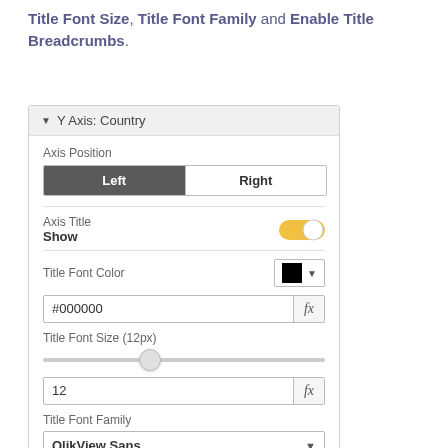Title Font Size, Title Font Family and Enable Title Breadcrumbs.
[Figure (screenshot): UI panel showing Y Axis: Country settings. Contains Axis Position toggle (Left selected), Axis Title Show with toggle switch (partially on, yellow/grey), Title Font Color with black color swatch and #000000 hex input with fx button, Title Font Size (12px) slider set to 12 with fx button, Title Font Family dropdown showing QlikView Sans.]